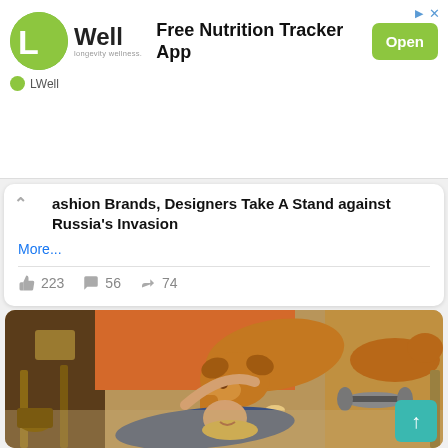[Figure (screenshot): LWell longevity wellness ad banner with green logo, 'Free Nutrition Tracker App' text, and green 'Open' button. Sponsored by LWell. Arrow and X icons in top right.]
Fashion Brands, Designers Take A Stand against Russia's Invasion
More...
223  56  74
[Figure (photo): A person lying on their back on the floor being licked on the face by a brown dog, with chairs and furniture visible in the background.]